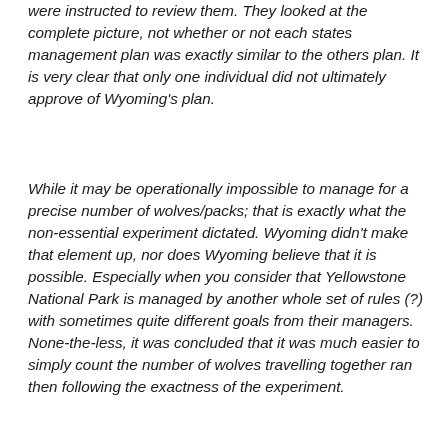were instructed to review them. They looked at the complete picture, not whether or not each states management plan was exactly similar to the others plan. It is very clear that only one individual did not ultimately approve of Wyoming's plan.
While it may be operationally impossible to manage for a precise number of wolves/packs; that is exactly what the non-essential experiment dictated. Wyoming didn't make that element up, nor does Wyoming believe that it is possible. Especially when you consider that Yellowstone National Park is managed by another whole set of rules (?) with sometimes quite different goals from their managers. None-the-less, it was concluded that it was much easier to simply count the number of wolves travelling together ran then following the exactness of the experiment.